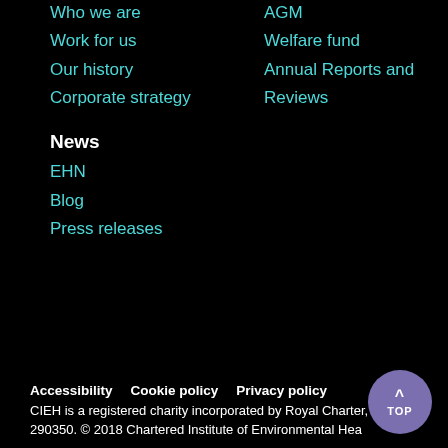Who we are
Work for us
Our history
Corporate strategy
AGM
Welfare fund
Annual Reports and Reviews
News
EHN
Blog
Press releases
Accessibility    Cookie policy    Privacy policy
CIEH is a registered charity incorporated by Royal Charter, number 290350. © 2018 Chartered Institute of Environmental Hea